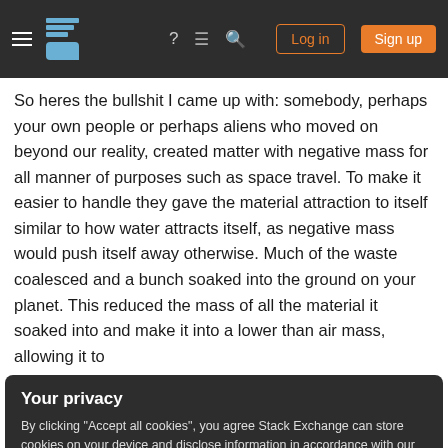Stack Exchange navigation bar with Log in and Sign up buttons
So heres the bullshit I came up with: somebody, perhaps your own people or perhaps aliens who moved on beyond our reality, created matter with negative mass for all manner of purposes such as space travel. To make it easier to handle they gave the material attraction to itself similar to how water attracts itself, as negative mass would push itself away otherwise. Much of the waste coalesced and a bunch soaked into the ground on your planet. This reduced the mass of all the material it soaked into and make it into a lower than air mass, allowing it to
Your privacy
By clicking "Accept all cookies", you agree Stack Exchange can store cookies on your device and disclose information in accordance with our Cookie Policy.
Accept all cookies   Customize settings
some aircraft for example.